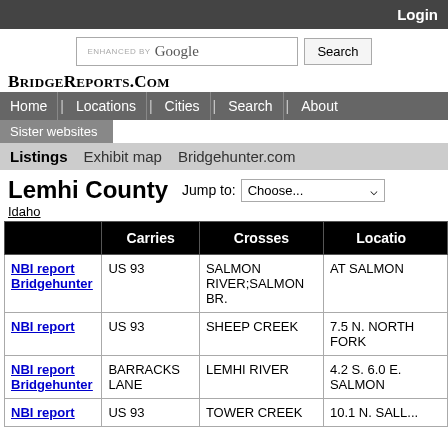Login
ENHANCED BY Google  Search
BridgeReports.com
Home | Locations | Cities | Search | About | Sister websites
Listings  Exhibit map  Bridgehunter.com
Lemhi County
Idaho
|  | Carries | Crosses | Location |
| --- | --- | --- | --- |
| NBI report
Bridgehunter | US 93 | SALMON RIVER;SALMON BR. | AT SALMON |
| NBI report | US 93 | SHEEP CREEK | 7.5 N. NORTH FORK |
| NBI report
Bridgehunter | BARRACKS LANE | LEMHI RIVER | 4.2 S. 6.0 E. SALMON |
| NBI report | US 93 | TOWER CREEK | 10.1 N. SALL... |